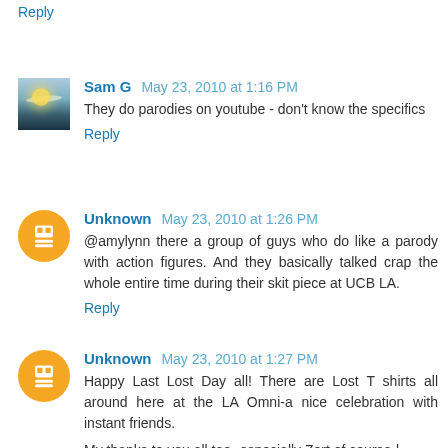Reply
Sam G  May 23, 2010 at 1:16 PM
They do parodies on youtube - don't know the specifics
Reply
Unknown  May 23, 2010 at 1:26 PM
@amylynn there a group of guys who do like a parody with action figures. And they basically talked crap the whole entire time during their skit piece at UCB LA.
Reply
Unknown  May 23, 2010 at 1:27 PM
Happy Last Lost Day all! There are Lost T shirts all around here at the LA Omni-a nice celebration with instant friends.
My thanks to you all too- especially Zort of course-l